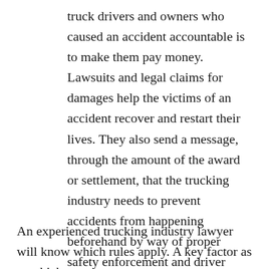truck drivers and owners who caused an accident accountable is to make them pay money. Lawsuits and legal claims for damages help the victims of an accident recover and restart their lives. They also send a message, through the amount of the award or settlement, that the trucking industry needs to prevent accidents from happening beforehand by way of proper safety enforcement and driver training.
An experienced trucking industry lawyer will know which rules apply. A key factor as to which